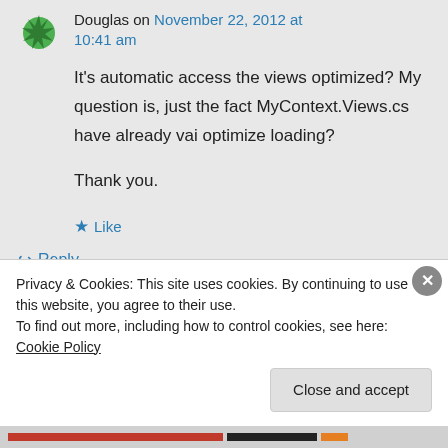Douglas on November 22, 2012 at 10:41 am
It's automatic access the views optimized? My question is, just the fact MyContext.Views.cs have already vai optimize loading?

Thank you.
★ Like
↪ Reply
Privacy & Cookies: This site uses cookies. By continuing to use this website, you agree to their use.
To find out more, including how to control cookies, see here: Cookie Policy
Close and accept